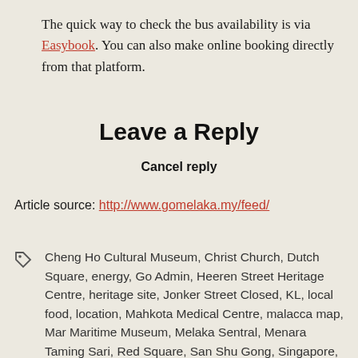The quick way to check the bus availability is via Easybook. You can also make online booking directly from that platform.
Leave a Reply
Cancel reply
Article source: http://www.gomelaka.my/feed/
Cheng Ho Cultural Museum, Christ Church, Dutch Square, energy, Go Admin, Heeren Street Heritage Centre, heritage site, Jonker Street Closed, KL, local food, location, Mahkota Medical Centre, malacca map, Mar Maritime Museum, Melaka Sentral, Menara Taming Sari, Red Square, San Shu Gong, Singapore, the heritage